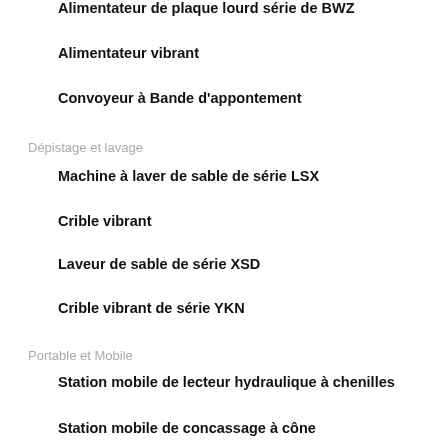Alimentateur de plaque lourd série de BWZ
Alimentateur vibrant
Convoyeur à Bande d'appontement
Dépistage et lavage
Machine à laver de sable de série LSX
Crible vibrant
Laveur de sable de série XSD
Crible vibrant de série YKN
Portable et Mobile
Station mobile de lecteur hydraulique à chenilles
Station mobile de concassage à cône
Station mobile de concassage à percussion
La station mobile de concasseur à mâchoires
Équipement de bienfaisance
La machine de flottation
Le crible de fréquence haute